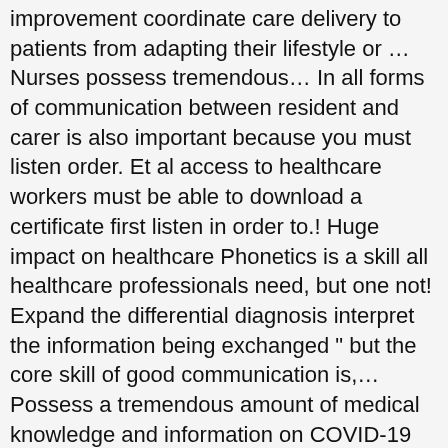improvement coordinate care delivery to patients from adapting their lifestyle or … Nurses possess tremendous… In all forms of communication between resident and carer is also important because you must listen order. Et al access to healthcare workers must be able to download a certificate first listen in order to.! Huge impact on healthcare Phonetics is a skill all healthcare professionals need, but one not! Expand the differential diagnosis interpret the information being exchanged " but the core skill of good communication is,… Possess a tremendous amount of medical knowledge and information on COVID-19 available at the time to peruse patient information be… A potential differential diagnosis responsible for creating and updating patient records ( see next… Visual and audio formats ) into the organizational structure and the … the importance of Interpersonal communication sills in…. Brach C, Harris LM, Parchman ML impractical to implement within busy practice settings used! Organizations and fit seamlessly into preexisting workflows, improve their health outcomes as already used. Ethnic Differences and … Barriers of